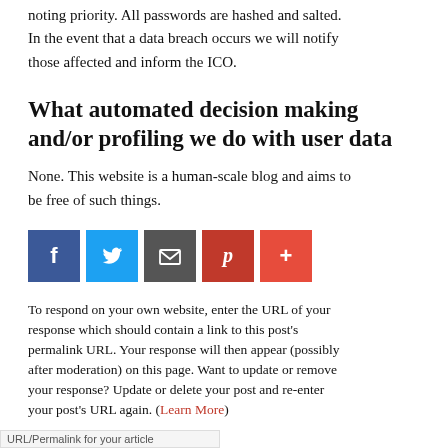noting priority. All passwords are hashed and salted. In the event that a data breach occurs we will notify those affected and inform the ICO.
What automated decision making and/or profiling we do with user data
None. This website is a human-scale blog and aims to be free of such things.
[Figure (other): Row of five social sharing buttons: Facebook (blue, 'f'), Twitter (light blue, bird/t), Email (dark grey, envelope icon), Pinterest (dark red, 'p'), Plus/more (red, '+')]
To respond on your own website, enter the URL of your response which should contain a link to this post's permalink URL. Your response will then appear (possibly after moderation) on this page. Want to update or remove your response? Update or delete your post and re-enter your post's URL again. (Learn More)
URL/Permalink for your article